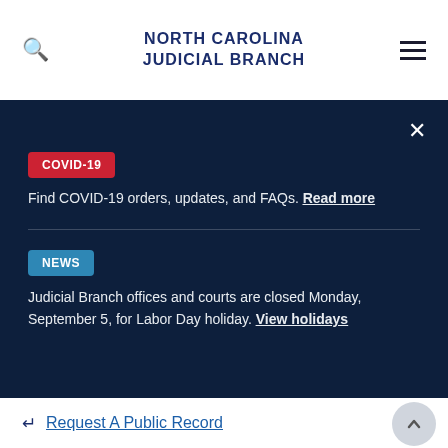NORTH CAROLINA JUDICIAL BRANCH
COVID-19
Find COVID-19 orders, updates, and FAQs. Read more
NEWS
Judicial Branch offices and courts are closed Monday, September 5, for Labor Day holiday. View holidays
Request A Public Record